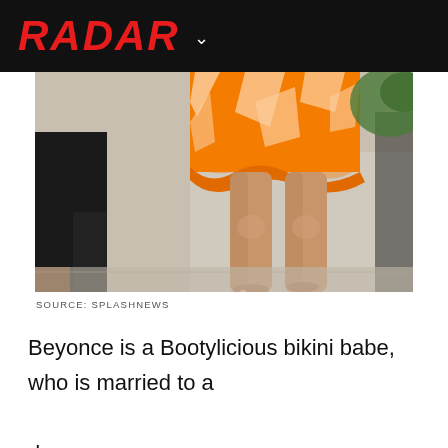RADAR
[Figure (photo): Close-up photo of a person's legs walking barefoot on pavement, wearing an orange and white patterned skirt/dress. On the left, a figure in black pants is partially visible. Background shows a wall and foliage.]
SOURCE: SPLASHNEWS
Beyonce is a Bootylicious bikini babe, who is married to a dapper rapper,